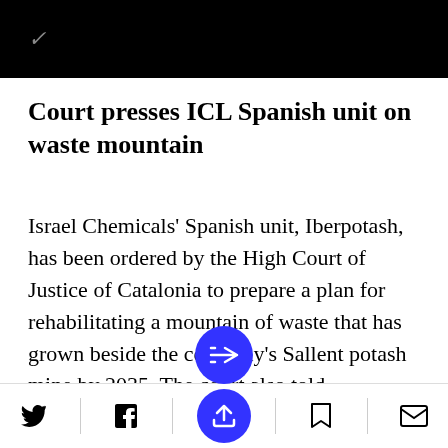✓
Court presses ICL Spanish unit on waste mountain
Israel Chemicals' Spanish unit, Iberpotash, has been ordered by the High Court of Justice of Catalonia to prepare a plan for rehabilitating a mountain of waste that has grown beside the company's Sallent potash mine by 2035. The court also told Catalonian authorities to significantly increase the performance guaran… erpotash must pay
[social share bar: Twitter, Facebook, Share button, Bookmark, Email]